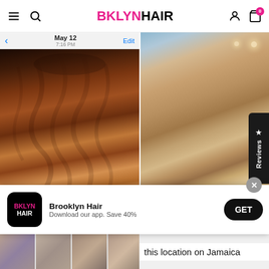BKLYNHAIR
[Figure (screenshot): iPhone Messages app screenshot showing curly long hair, back view, with date May 12 7:16 PM]
[Figure (photo): Portrait photo of Alexa D., a woman with curly updo hair with gold headband, gold hoop earrings, taken at EQQ STUDIOS NYC]
Alexa D. ✔
[Figure (screenshot): App download banner for Brooklyn Hair with BKLYN HAIR logo icon]
Brooklyn Hair
Download our app. Save 40%
GET
this location on Jamaica